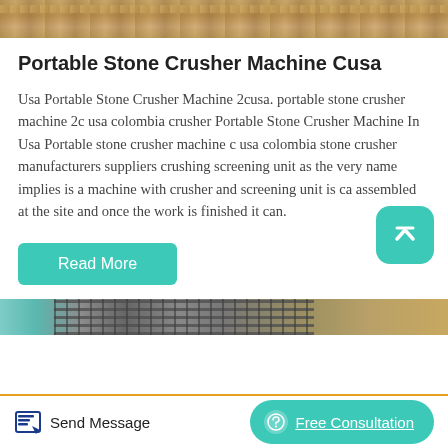[Figure (photo): Top partial photo of a stone crusher or quarry site with sandy/rocky terrain]
Portable Stone Crusher Machine Cusa
Usa Portable Stone Crusher Machine 2cusa. portable stone crusher machine 2c usa colombia crusher Portable Stone Crusher Machine In Usa Portable stone crusher machine c usa colombia stone crusher manufacturers suppliers crushing screening unit as the very name implies is a machine with crusher and screening unit is ca assembled at the site and once the work is finished it can.
[Figure (screenshot): Teal rounded square button with up-arrow/caret icon for scrolling to top]
Read More
[Figure (photo): Bottom partial photo showing a crusher screen/grate with teal and grey/sandy colors]
Send Message   Free Consultation